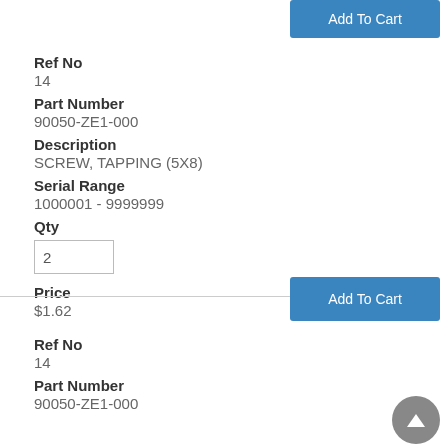Add To Cart
Ref No
14
Part Number
90050-ZE1-000
Description
SCREW, TAPPING (5X8)
Serial Range
1000001 - 9999999
Qty
2
Price
$1.62
Add To Cart
Ref No
14
Part Number
90050-ZE1-000